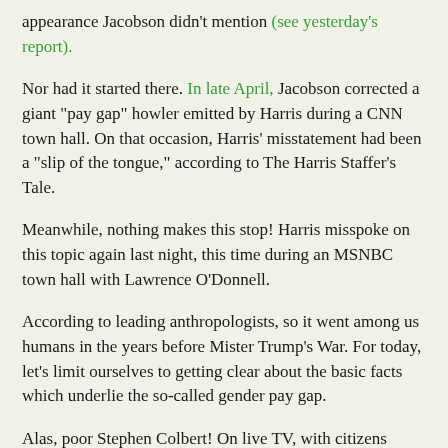appearance Jacobson didn't mention (see yesterday's report).
Nor had it started there. In late April, Jacobson corrected a giant "pay gap" howler emitted by Harris during a CNN town hall. On that occasion, Harris' misstatement had been a "slip of the tongue," according to The Harris Staffer's Tale.
Meanwhile, nothing makes this stop! Harris misspoke on this topic again last night, this time during an MSNBC town hall with Lawrence O'Donnell.
According to leading anthropologists, so it went among us humans in the years before Mister Trump's War. For today, let's limit ourselves to getting clear about the basic facts which underlie the so-called gender pay gap.
Alas, poor Stephen Colbert! On live TV, with citizens watching, The Candidate told him that "women on average are paid 80 cents on the dollar of what men are paid for the same work."
Colbert's reaction suggests that he may have known, or at least suspected, that this statement was bogus. That said, The